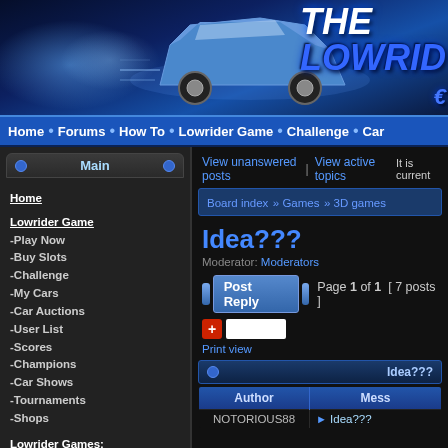[Figure (screenshot): The Lowrider Club website banner with a blue lowrider car jumping, logo text 'THE LOWRIDER' on dark blue background with blue glow effects]
Home • Forums • How To • Lowrider Game • Challenge • Car
Home
Lowrider Game
-Play Now
-Buy Slots
-Challenge
-My Cars
-Car Auctions
-User List
-Scores
-Champions
-Car Shows
-Tournaments
-Shops
Lowrider Games:
-Monte Carlo
-Expedition
-3D 57 Chevy
-2-Player Game
-Cadillac Hopper
-Cadillac Dancer
-Cutlass Hopper
-Regal Hopper
View unanswered posts | View active topics  It is current
Board index » Games » 3D games
Idea???
Moderator: Moderators
Post Reply  Page 1 of 1  [ 7 posts ]
Print view
Idea???
| Author | Mess |
| --- | --- |
| NOTORIOUS68 | Idea??? |